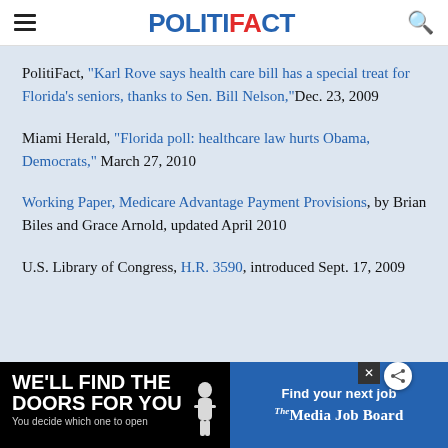POLITIFACT
PolitiFact, "Karl Rove says health care bill has a special treat for Florida's seniors, thanks to Sen. Bill Nelson," Dec. 23, 2009
Miami Herald, "Florida poll: healthcare law hurts Obama, Democrats," March 27, 2010
Working Paper, Medicare Advantage Payment Provisions, by Brian Biles and Grace Arnold, updated April 2010
U.S. Library of Congress, H.R. 3590, introduced Sept. 17, 2009
U.S. Pres...